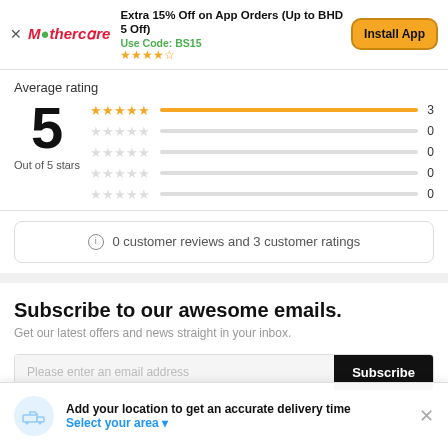[Figure (screenshot): Mothercare app install banner with logo, promo text 'Extra 15% Off on App Orders (Up to BHD 5 Off)', code BS15, star rating, and Install App button]
Average rating
5
Out of 5 stars
[Figure (infographic): Star rating breakdown bars: 5 stars=3 reviews, 4 stars=0, 3 stars=0, 2 stars=0, 1 star=0]
0 customer reviews and 3 customer ratings
Subscribe to our awesome emails.
Get our latest offers and news straight in your inbox.
Please enter an email address
Add your location to get an accurate delivery time
Select your area